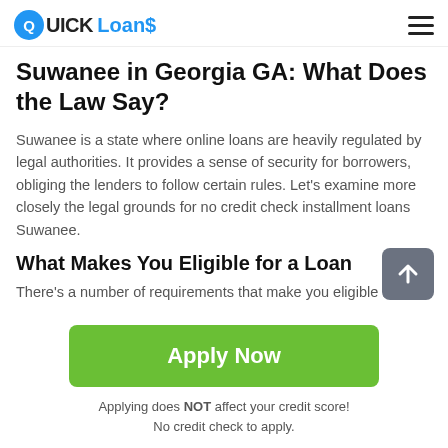QUICK Loans
Suwanee in Georgia GA: What Does the Law Say?
Suwanee is a state where online loans are heavily regulated by legal authorities. It provides a sense of security for borrowers, obliging the lenders to follow certain rules. Let's examine more closely the legal grounds for no credit check installment loans Suwanee.
What Makes You Eligible for a Loan
There's a number of requirements that make you eligible for
Apply Now
Applying does NOT affect your credit score!
No credit check to apply.